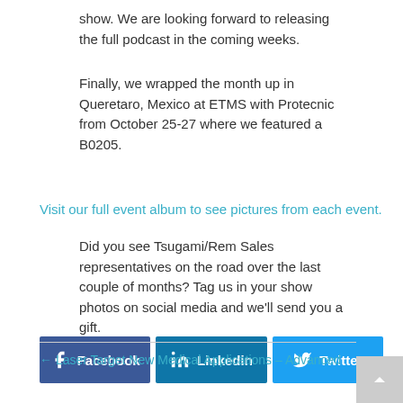show. We are looking forward to releasing the full podcast in the coming weeks.
Finally, we wrapped the month up in Queretaro, Mexico at ETMS with Protecnic from October 25-27 where we featured a B0205.
Visit our full event album to see pictures from each event.
Did you see Tsugami/Rem Sales representatives on the road over the last couple of months? Tag us in your show photos on social media and we'll send you a gift.
[Figure (infographic): Three social media share buttons: Facebook (dark blue), Linkedin (medium blue), Twitter (light blue), each with respective icon and label.]
← Laser Target New Medical Applications – Advanced